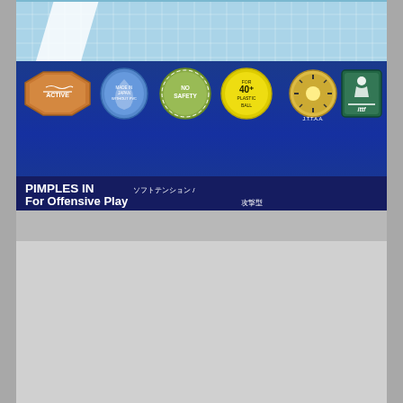[Figure (photo): Table tennis rubber packaging. Top portion shows a light blue grid-pattern background with a white diagonal stripe. Below is a dark navy blue panel displaying six certification/quality badge icons in a row: a hexagonal orange badge, a blue teardrop/shield badge labeled 'MADE WITHOUT PVC', a green circular badge labeled 'NO SAFETY', a yellow circular badge labeled 'FOR 40+ PLASTIC BALL', a round JTTAA certification badge, and a green square ITTF (International Table Tennis Federation) approval badge. Below the badges is a text bar reading 'PIMPLES IN (soft/tension type in Japanese) / For Offensive Play (in Japanese)' in white bold text on dark navy. The lower half of the image is a plain gray surface, likely the back of the rubber packaging.]
PIMPLES IN / For Offensive Play